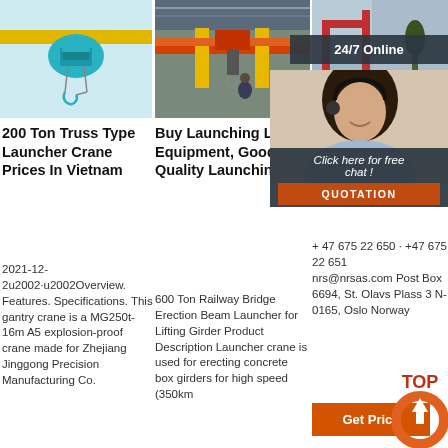[Figure (photo): Electric wire rope hoist with hook, teal/green color on yellow beam]
[Figure (photo): Orange and yellow overhead bridge crane in industrial warehouse]
[Figure (photo): Red gantry crane outdoors with blue sky, partially obscured by chat popup]
200 Ton Truss Type Launcher Crane Prices In Vietnam
2021-12-2u2002·u2002Overview. Features. Specifications. This gantry crane is a MG250t-16m A5 explosion-proof crane made for Zhejiang Jinggong Precision Manufacturing Co.
Buy Launching Lifting Equipment, Good Quality Launching ...
600 Ton Railway Bridge Erection Beam Launcher for Lifting Girder Product Description Launcher crane is used for erecting concrete box girders for high speed (350km
Gantry NRS B CONS EQUIP
+ 47 675 22 650 · +47 675 22 651
nrs@nrsas.com Post Box 6694, St. Olavs Plass 3 N-0165, Oslo Norway
24/7 Online
Click here for free chat !
QUOTATION
Get Price